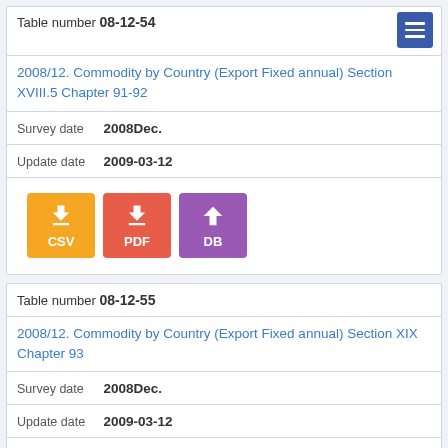Table number 08-12-54
2008/12. Commodity by Country (Export Fixed annual) Section XVIII.5 Chapter 91-92
Survey date  2008Dec.
Update date  2009-03-12
[Figure (other): Download buttons: CSV (orange), PDF (red-orange), DB (purple)]
Table number 08-12-55
2008/12. Commodity by Country (Export Fixed annual) Section XIX Chapter 93
Survey date  2008Dec.
Update date  2009-03-12
[Figure (other): Download buttons: CSV (orange), PDF (red-orange), DB (purple) — partially visible]